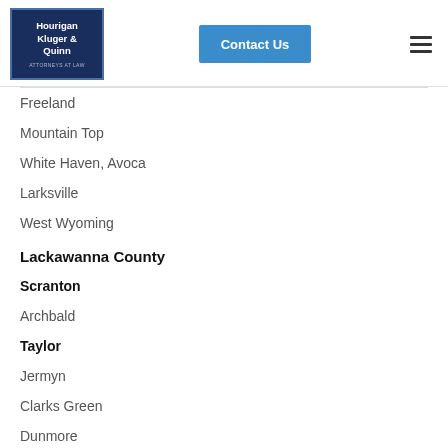[Figure (logo): Hourigan Kluger & Quinn Attorneys at Law logo in navy blue box with border]
[Figure (other): Contact Us button in blue]
[Figure (other): Hamburger menu icon (three horizontal lines)]
Freeland
Mountain Top
White Haven, Avoca
Larksville
West Wyoming
Lackawanna County
Scranton
Archbald
Taylor
Jermyn
Clarks Green
Dunmore
Jessup
Old Forge
Moscow
Mayfield